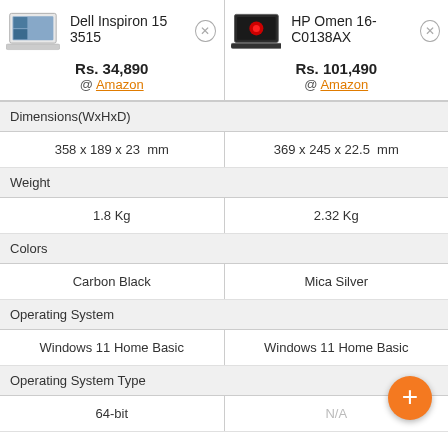| Dell Inspiron 15 3515 | HP Omen 16-C0138AX |
| --- | --- |
| Rs. 34,890 @ Amazon | Rs. 101,490 @ Amazon |
| Dimensions(WxHxD) |  |
| 358 x 189 x 23  mm | 369 x 245 x 22.5  mm |
| Weight |  |
| 1.8 Kg | 2.32 Kg |
| Colors |  |
| Carbon Black | Mica Silver |
| Operating System |  |
| Windows 11 Home Basic | Windows 11 Home Basic |
| Operating System Type |  |
| 64-bit | N/A |